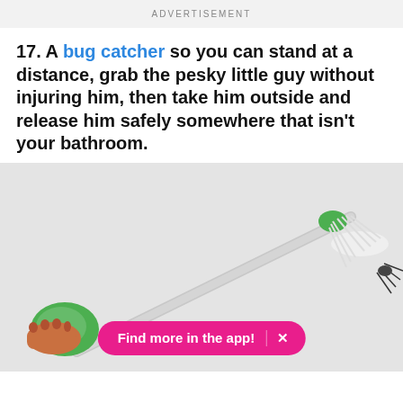ADVERTISEMENT
17. A bug catcher so you can stand at a distance, grab the pesky little guy without injuring him, then take him outside and release him safely somewhere that isn't your bathroom.
[Figure (photo): Photo of a person holding a green bug catcher tool with a long handle, catching a spider, with a pink promotional banner overlay saying 'Find more in the app!' with an X button]